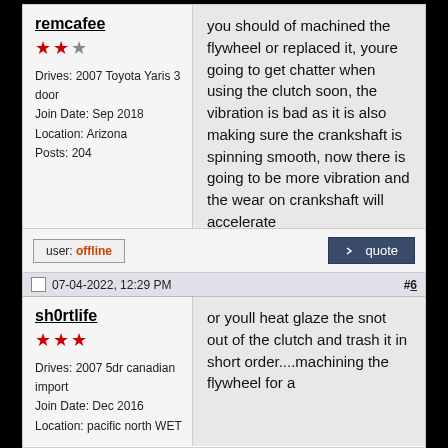remcafee
★★☆
Drives: 2007 Toyota Yaris 3 door
Join Date: Sep 2018
Location: Arizona
Posts: 204
you should of machined the flywheel or replaced it, youre going to get chatter when using the clutch soon, the vibration is bad as it is also making sure the crankshaft is spinning smooth, now there is going to be more vibration and the wear on crankshaft will accelerate
user: offline
quote
07-04-2022, 12:29 PM  #6
sh0rtlife
★★★
Drives: 2007 5dr canadian import
Join Date: Dec 2016
Location: pacific north WET
or youll heat glaze the snot out of the clutch and trash it in short order....machining the flywheel for a